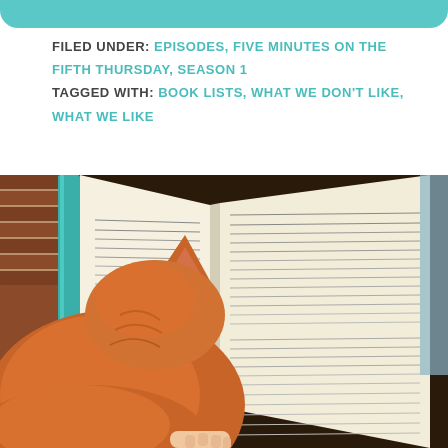FILED UNDER: EPISODES, FIVE MINUTES ON THE FIFTH THURSDAY, SEASON 1 TAGGED WITH: BOOK LISTS, WHAT WE DON'T LIKE, WHAT WE LIKE
[Figure (photo): An orange tabby cat sitting in front of an open book being held by a person. The book pages show dense text paragraphs. Background shows a brick wall.]